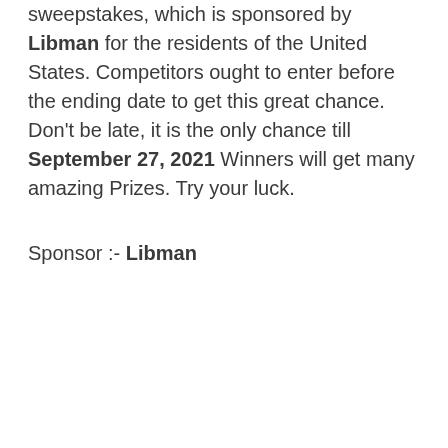sweepstakes, which is sponsored by Libman for the residents of the United States. Competitors ought to enter before the ending date to get this great chance. Don't be late, it is the only chance till September 27, 2021 Winners will get many amazing Prizes. Try your luck.
Sponsor :- Libman